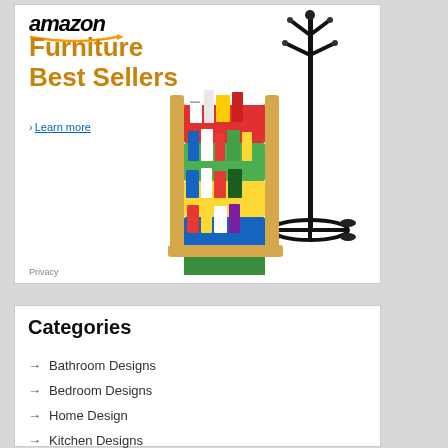[Figure (advertisement): Amazon Furniture Best Sellers advertisement with colorful children's bookshelf and black coat rack stand. Text reads 'Furniture Best Sellers' with '› Learn more' link and 'Privacy' footer.]
Categories
Bathroom Designs
Bedroom Designs
Home Design
Kitchen Designs